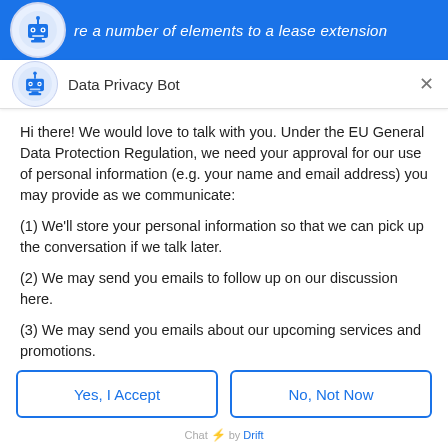re a number of elements to a lease extension
Data Privacy Bot
Hi there! We would love to talk with you. Under the EU General Data Protection Regulation, we need your approval for our use of personal information (e.g. your name and email address) you may provide as we communicate:
(1) We'll store your personal information so that we can pick up the conversation if we talk later.
(2) We may send you emails to follow up on our discussion here.
(3) We may send you emails about our upcoming services and promotions.
Yes, I Accept
No, Not Now
Chat ⚡ by Drift